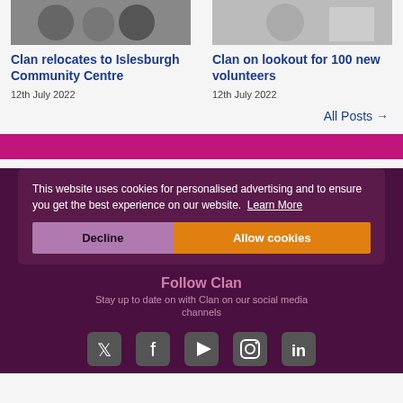[Figure (photo): Photo of people, cropped, left card top]
Clan relocates to Islesburgh Community Centre
12th July 2022
[Figure (photo): Photo of person, cropped, right card top]
Clan on lookout for 100 new volunteers
12th July 2022
All Posts →
This website uses cookies for personalised advertising and to ensure you get the best experience on our website. Learn More
Follow Clan
Stay up to date on with Clan on our social media channels
Decline
Allow cookies
[Figure (infographic): Social media icons: Twitter, Facebook, YouTube, Instagram, LinkedIn]